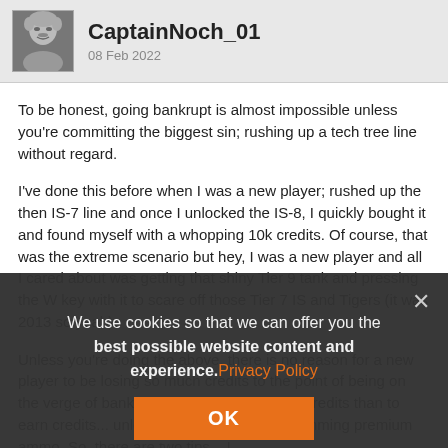CaptainNoch_01 · 08 Feb 2022
To be honest, going bankrupt is almost impossible unless you're committing the biggest sin; rushing up a tech tree line without regard.
I've done this before when I was a new player; rushed up the then IS-7 line and once I unlocked the IS-8, I quickly bought it and found myself with a whopping 10k credits. Of course, that was the extreme scenario but hey, I was a new player and all I cared about was getting that shiny Tier 9 tank and pressing the W key with it to scare off those Tier 7 IS and Tigers (it was 2013 so yeah).
Unless you're doing the above, there is no reason for a new player to be losing so much credits to the point of being on the verge of bankruptcy. It is harder to lose credits than to earn credits... unless of course you are spamming premium ammo. So, there are two tips... I
We use cookies so that we can offer you the best possible website content and experience. Privacy Policy
OK